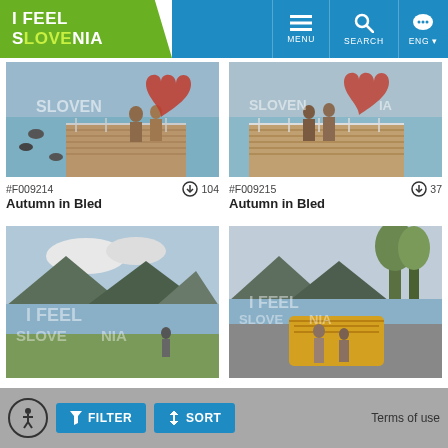[Figure (screenshot): I Feel Slovenia website header with logo and navigation buttons for MENU, SEARCH, and ENG language selector]
[Figure (photo): Autumn in Bled - people on a wooden dock with a red heart sculpture and ducks on the water, watermarked SLOVENIA]
#F009214  ⬇ 104
Autumn in Bled
[Figure (photo): Autumn in Bled - people walking on a wooden dock with red heart sculpture, watermarked SLOVENIA]
#F009215  ⬇ 37
Autumn in Bled
[Figure (photo): Lake scene with mountains and a child on a dock, watermarked I FEEL SLOVENIA]
[Figure (photo): Lake scene with mountains, trees, and a couple near a wooden boat structure, watermarked I FEEL SLOVENIA]
[Figure (screenshot): Footer bar with accessibility icon, FILTER button, SORT button, and Terms of use link]